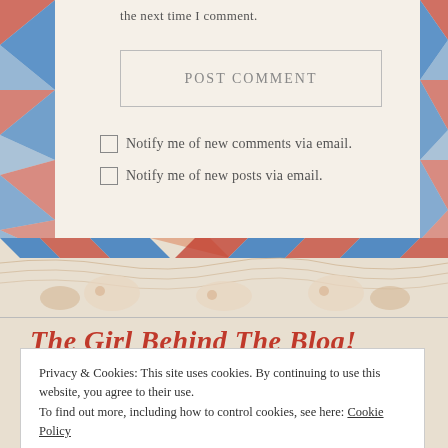the next time I comment.
POST COMMENT
Notify me of new comments via email.
Notify me of new posts via email.
[Figure (illustration): Decorative blog banner with blue and orange/terracotta diagonal chevron/triangle border patterns on a beige background, with a repeating illustration of babies/figures in beige tones in the center strip.]
The Girl Behind The Blog!
Privacy & Cookies: This site uses cookies. By continuing to use this website, you agree to their use. To find out more, including how to control cookies, see here: Cookie Policy
Close and accept